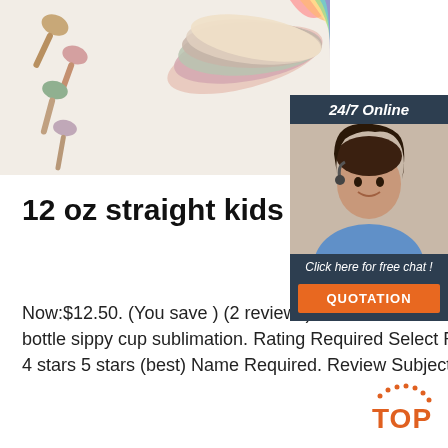[Figure (photo): Product photo showing colorful silicone spoons and bowls in pastel colors including pink, green, beige, mauve arranged on a white background]
[Figure (photo): Chat widget with a customer service representative wearing a headset, dark navy background, with '24/7 Online' header, 'Click here for free chat!' text, and orange QUOTATION button]
12 oz straight kids bottle sippy cup sublimation ...
Now:$12.50. (You save ) (2 reviews) Write a Review. Write a Review. Close ×. 12 oz straight kids bottle sippy cup sublimation. Rating Required Select Rating 1 star (worst) 2 stars 3 stars (average) 4 stars 5 stars (best) Name Required. Review Subject Required.
[Figure (logo): TOP logo with dotted arc above letters in orange/red color]